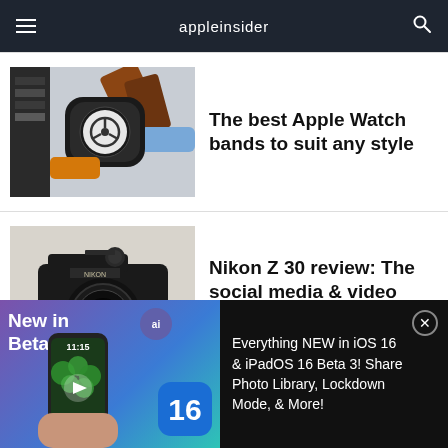appleinsider
[Figure (photo): Various Apple Watch bands laid out on a surface with an Apple Watch in the center]
The best Apple Watch bands to suit any style
[Figure (photo): Nikon Z 30 mirrorless camera on a white surface]
Nikon Z 30 review: The social media & video creator's camera
[Figure (photo): Partial view of game controllers article thumbnail]
The best game controllers
[Figure (screenshot): Advertisement banner: New in Beta 3! Everything NEW in iOS 16 & iPadOS 16 Beta 3! Share Photo Library, Lockdown Mode, & More!]